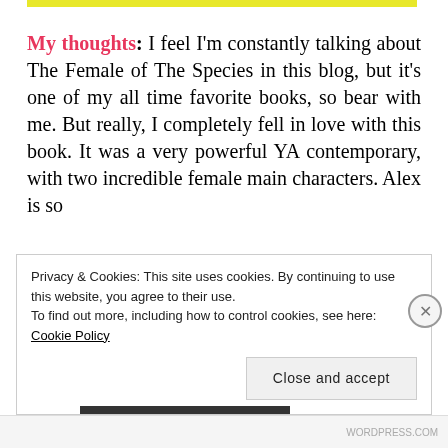[Figure (other): Yellow horizontal bar at top of page]
My thoughts: I feel I'm constantly talking about The Female of The Species in this blog, but it's one of my all time favorite books, so bear with me. But really, I completely fell in love with this book. It was a very powerful YA contemporary, with two incredible female main characters. Alex is so
Privacy & Cookies: This site uses cookies. By continuing to use this website, you agree to their use.
To find out more, including how to control cookies, see here: Cookie Policy
Close and accept